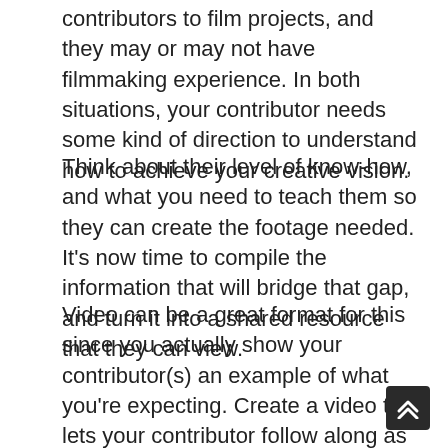contributors to film projects, and they may or may not have filmmaking experience. In both situations, your contributor needs some kind of direction to understand how to achieve your creative vision.
Think about their level of know-how, and what you need to teach them so they can create the footage needed. It's now time to compile the information that will bridge that gap, and turn it into a shared resource that they can view.
Video can be a great format for this since you actually show your contributor(s) an example of what you're expecting. Create a video that lets your contributor follow along as you demonstrate, rather than just explain, how to set up and capture the footage. The amount of detail you go into is up to you, but consider this instruction as one of your new responsibilities in the production stage of a remote